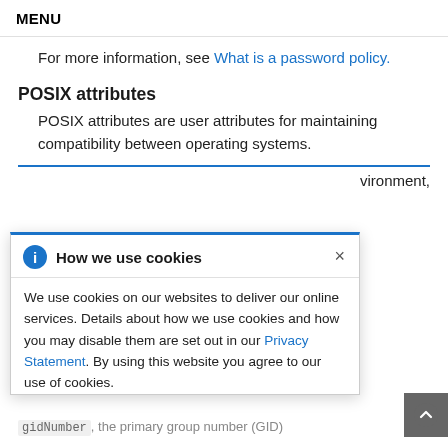MENU
For more information, see What is a password policy.
POSIX attributes
POSIX attributes are user attributes for maintaining compatibility between operating systems.
vironment,
[Figure (screenshot): Cookie consent popup titled 'How we use cookies' with an info icon, close button (×), body text about cookie usage with a Privacy Statement link, and text 'By using this website you agree to our use of cookies.']
gidNumber, the primary group number (GID)